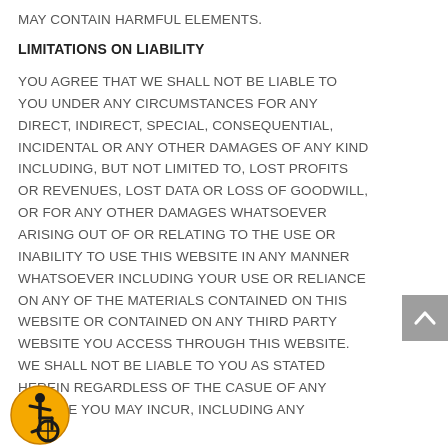MAY CONTAIN HARMFUL ELEMENTS.
LIMITATIONS ON LIABILITY
YOU AGREE THAT WE SHALL NOT BE LIABLE TO YOU UNDER ANY CIRCUMSTANCES FOR ANY DIRECT, INDIRECT, SPECIAL, CONSEQUENTIAL, INCIDENTAL OR ANY OTHER DAMAGES OF ANY KIND INCLUDING, BUT NOT LIMITED TO, LOST PROFITS OR REVENUES, LOST DATA OR LOSS OF GOODWILL, OR FOR ANY OTHER DAMAGES WHATSOEVER ARISING OUT OF OR RELATING TO THE USE OR INABILITY TO USE THIS WEBSITE IN ANY MANNER WHATSOEVER INCLUDING YOUR USE OR RELIANCE ON ANY OF THE MATERIALS CONTAINED ON THIS WEBSITE OR CONTAINED ON ANY THIRD PARTY WEBSITE YOU ACCESS THROUGH THIS WEBSITE. WE SHALL NOT BE LIABLE TO YOU AS STATED HEREIN REGARDLESS OF THE CASUE OF ANY DAMAGE YOU MAY INCUR, INCLUDING ANY
[Figure (illustration): Accessibility icon — orange circle with black wheelchair user symbol]
[Figure (illustration): Grey scroll-to-top button with white upward-pointing chevron]